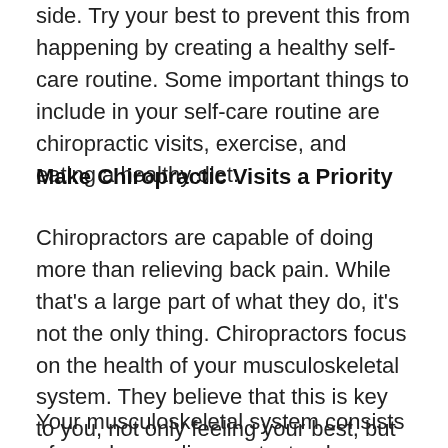side. Try your best to prevent this from happening by creating a healthy self-care routine. Some important things to include in your self-care routine are chiropractic visits, exercise, and eating a healthy diet.
Make Chiropractic Visits a Priority
Chiropractors are capable of doing more than relieving back pain. While that's a large part of what they do, it's not the only thing. Chiropractors focus on the health of your musculoskeletal system. They believe that this is key to you, not only feeling your best, but being at your best as well.
Your musculoskeletal system consists of your bones, ligaments, tendons, and cartilage. Chiropractors are trained to handle and treat each area of this system. Think about how your life could benefit if each of these areas were properly taken care of. You dont...